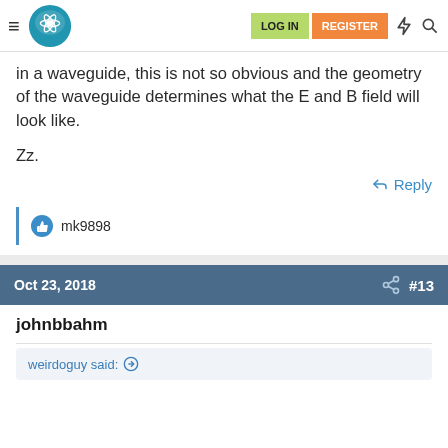LOG IN | REGISTER
in a waveguide, this is not so obvious and the geometry of the waveguide determines what the E and B field will look like.
Zz.
Reply
mk9898
Oct 23, 2018  #13
johnbbahm
weirdoguy said: